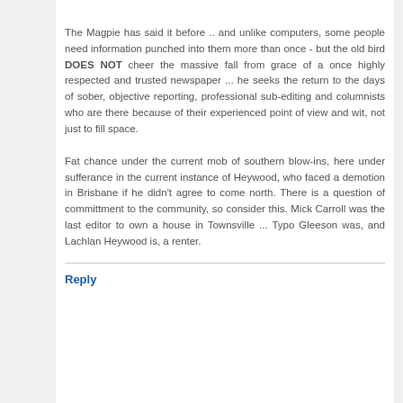The Magpie has said it before .. and unlike computers, some people need information punched into them more than once - but the old bird DOES NOT cheer the massive fall from grace of a once highly respected and trusted newspaper ... he seeks the return to the days of sober, objective reporting, professional sub-editing and columnists who are there because of their experienced point of view and wit, not just to fill space.
Fat chance under the current mob of southern blow-ins, here under sufferance in the current instance of Heywood, who faced a demotion in Brisbane if he didn't agree to come north. There is a question of committment to the community, so consider this. Mick Carroll was the last editor to own a house in Townsville ... Typo Gleeson was, and Lachlan Heywood is, a renter.
Reply